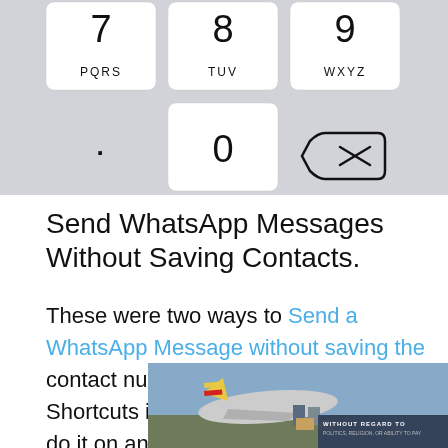[Figure (screenshot): Bottom portion of an iOS phone keypad showing keys 7 (PQRS), 8 (TUV), 9 (WXYZ), dot, 0, and backspace button on a grey background]
Send WhatsApp Messages Without Saving Contacts.
These were two ways to Send a WhatsApp Message without saving the contact number in your phone. Siri Shortcuts is surely the best method to do it on an iPhone. Android has multiple apps to send a WhatsApp
[Figure (photo): Advertisement banner showing an airplane with cargo loading and text 'WITHOUT REGARD TO POLITICS, RELIGION, OR ABILITY TO PAY']